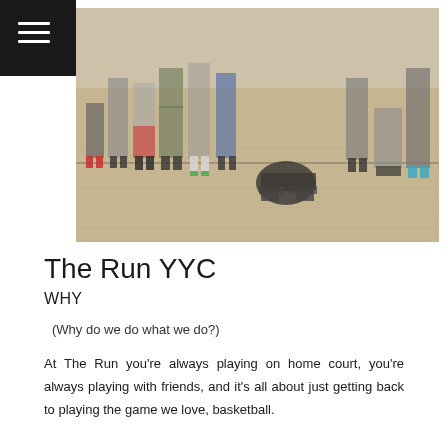☰
[Figure (photo): Group photo of young basketball players standing and sitting on an indoor basketball court with hardwood flooring. Players are wearing various colored shorts and sneakers. One person is seated on the floor in the center.]
The Run YYC
WHY
(Why do we do what we do?)
At The Run you're always playing on home court, you're always playing with friends, and it's all about just getting back to playing the game we love, basketball.